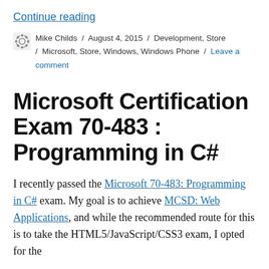Continue reading
Mike Childs / August 4, 2015 / Development, Store / Microsoft, Store, Windows, Windows Phone / Leave a comment
Microsoft Certification Exam 70-483 : Programming in C#
I recently passed the Microsoft 70-483: Programming in C# exam. My goal is to achieve MCSD: Web Applications, and while the recommended route for this is to take the HTML5/JavaScript/CSS3 exam, I opted for the